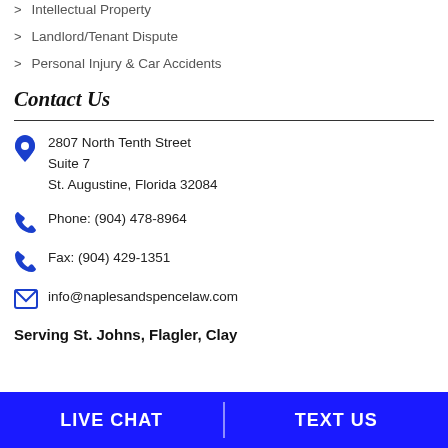Intellectual Property
Landlord/Tenant Dispute
Personal Injury & Car Accidents
Contact Us
2807 North Tenth Street
Suite 7
St. Augustine, Florida 32084
Phone: (904) 478-8964
Fax: (904) 429-1351
info@naplesandspencelaw.com
Serving St. Johns, Flagler, Clay
LIVE CHAT | TEXT US